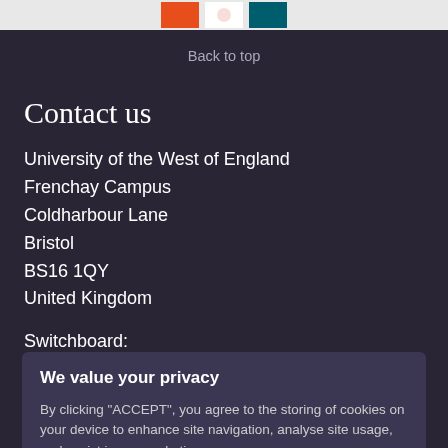[Figure (logo): Three logo color blocks — orange, white, teal — in a light grey bar]
Back to top
Contact us
University of the West of England
Frenchay Campus
Coldharbour Lane
Bristol
BS16 1QY
United Kingdom
Switchboard:
We value your privacy
By clicking "ACCEPT", you agree to the storing of cookies on your device to enhance site navigation, analyse site usage, and assist in our marketing.